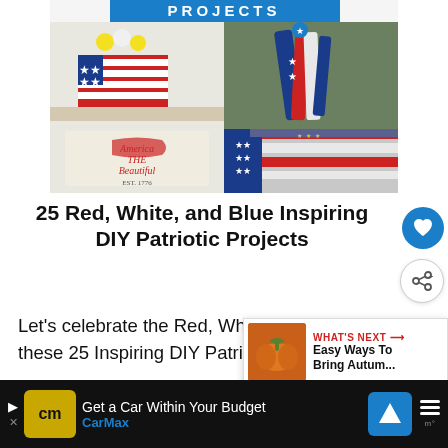[Figure (photo): Collage of 4 patriotic DIY craft photos: red/white/blue painted can with flowers, patriotic wind spinner hanging outside, America the Beautiful sign EST 1776, and red/white/blue striped jeans with star pattern]
25 Red, White, and Blue Inspiring DIY Patriotic Projects
Let's celebrate the Red, White, and Blue with these 25 Inspiring DIY Patriotic Projects 4th of July is just about here. For most
[Figure (infographic): WHAT'S NEXT promo box showing a pumpkin image with text: Easy Ways To Bring Autum...]
[Figure (infographic): CarMax advertisement banner: Get a Car Within Your Budget - CarMax, with navigation icon and waveform icon on black background]